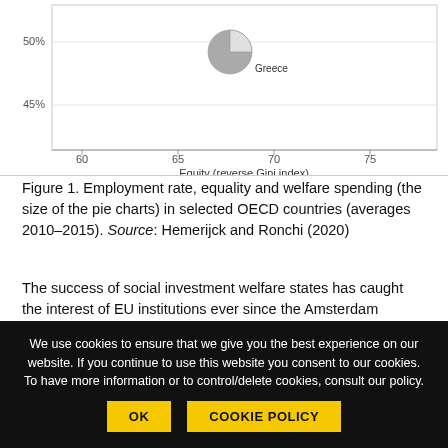[Figure (scatter-plot): Partial view of a scatter plot with pie chart markers showing employment rate vs equity (reverse Gini index) for OECD countries. Greece is labeled near center-right. Y-axis shows values around 45%-50%, X-axis shows values 60-75 labeled 'Equity (reverse Gini index)'.]
Figure 1. Employment rate, equality and welfare spending (the size of the pie charts) in selected OECD countries (averages 2010–2015). Source: Hemerijck and Ronchi (2020)
The success of social investment welfare states has caught the interest of EU institutions ever since the Amsterdam Summit of 1997. The European Commission has proactively helped translate social investment into a concrete welfare reform strategy, from the stepping stones in the Lisbon Agenda of 2000 to a full endorsement with the publication of the Social Investment Package in 2013, many recommendations of which have been codified in the 2017
We use cookies to ensure that we give you the best experience on our website. If you continue to use this website you consent to our cookies. To have more information or to control/delete cookies, consult our policy.